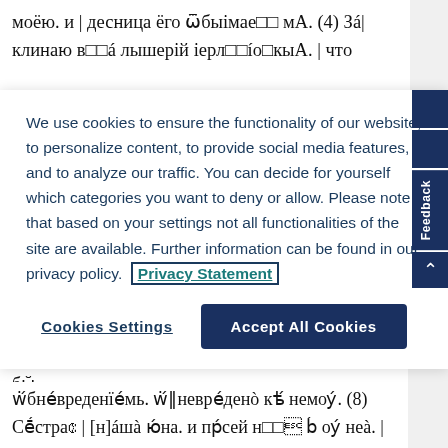моёю. и | десница ёго ѿбыімае мА. (4) Зá| клинаю в á лышерій іерл ío кыА. | чтo
We use cookies to ensure the functionality of our website, to personalize content, to provide social media features, and to analyze our traffic. You can decide for yourself which categories you want to deny or allow. Please note that based on your settings not all functionalities of the site are available. Further information can be found in our privacy policy. Privacy Statement
Cookies Settings
Accept All Cookies
сті. и оуглїє ёА. оуглїє ѿі|нА. пламень ёА. ѿ пламе сíл|нáго. (7) вóды многы не мог | оугáсіти люóвіі. и рѣкы не | вымыю ёА. ёда бы даль м | оувсебо всє їмвніє дóмоу его за | любoвь.
ѿбневреденїємь. ѿ|невредено кѣ немоу. (8) Сēстрà | [н]áшà юнa. и прсей н í оу неà. | и чтo